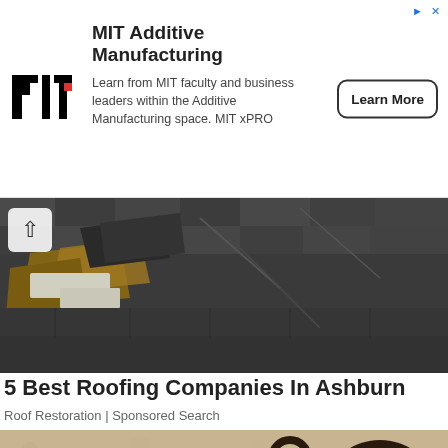[Figure (infographic): MIT Additive Manufacturing advertisement banner with MIT logo, text, and Learn More button]
[Figure (photo): Damaged roofing shingles, dark grey/black, some lifted and broken]
5 Best Roofing Companies In Ashburn
Roof Restoration | Sponsored Search
[Figure (photo): Outdoor wall-mounted lantern light fixture on a stucco wall]